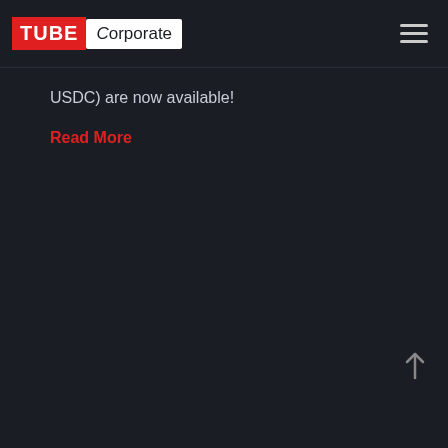TUBE Corporate
USDC) are now available!
Read More